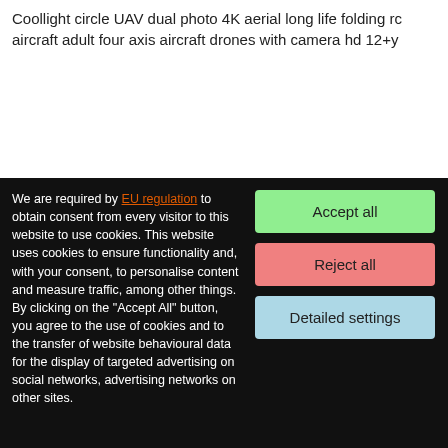Coollight circle UAV dual photo 4K aerial long life folding rc aircraft adult four axis aircraft drones with camera hd 12+y
product detail
LESU Metal Spring Oil Pipe Protector Spare Parts f
We are required by EU regulation to obtain consent from every visitor to this website to use cookies. This website uses cookies to ensure functionality and, with your consent, to personalise content and measure traffic, among other things. By clicking on the "Accept All" button, you agree to the use of cookies and to the transfer of website behavioural data for the display of targeted advertising on social networks, advertising networks on other sites.
Accept all
Reject all
Detailed settings